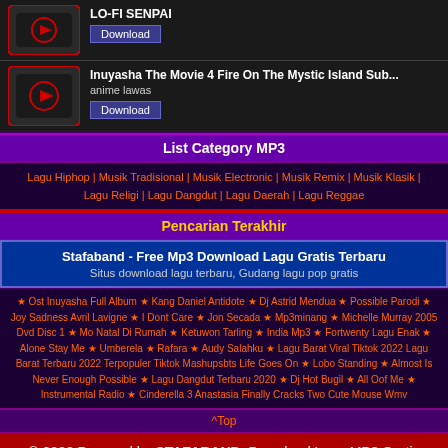[Figure (screenshot): Video thumbnail with red play button icon on dark background for LO-FI SENPAI]
LO-FI SENPAI
Download
[Figure (screenshot): Video thumbnail with red play button icon on dark background for Inuyasha The Movie 4]
Inuyasha The Movie 4 Fire On The Mystic Island Sub...
anime lawas
Download
List Category MP3
Lagu Hiphop | Musik Tradisional | Musik Electronic | Musik Remix | Musik Klasik | Lagu Religi | Lagu Dangdut | Lagu Daerah | Lagu Reggae
Pencarian Terakhir
Stafaband - Free Mp3 Download Lagu Gratis Terbaru
Situs download lagu terbaru, Gudang lagu pop gratis
★ Ost Inuyasha Full Album ★ Kang Daniel Antidote ★ Dj Astrid Mendua ★ Possible Parodi ★ Joy Sadness Avril Lavigne ★ I Dont Care ★ Jon Secada ★ Mp3minang ★ Michelle Murray 2005 Dvd Disc 1 ★ Mo Natal Di Rumah ★ Ketuwon Tarling ★ India Mp3 ★ Fortwenty Lagu Enak ★ Alone Stay Me ★ Umberela ★ Rafara ★ Audy Salahku ★ Lagu Barat Viral Tiktok 2022 Lagu Barat Terbaru 2022 Terpopuler Tiktok Mashupsbts Life Goes On ★ Lobo Standing ★ Almost Is Never Enough Possible ★ Lagu Dangdut Terbaru 2020 ★ Dj Hot Bugil ★ All Oof Me ★ Instrumental Radio ★ Cinderella 3 Anastasia Finally Cracks Two Cute Mouse Wmv
^Top
© 2022 Powered by STAFABAND, Download Lagu MP3 Gratis